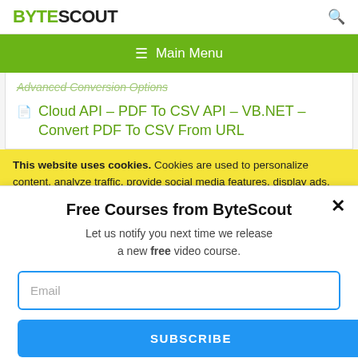BYTESCOUT
[Figure (screenshot): Navigation bar with hamburger icon and 'Main Menu' text on green background]
Advanced Conversion Options
Cloud API – PDF To CSV API – VB.NET – Convert PDF To CSV From URL
This website uses cookies. Cookies are used to personalize content, analyze traffic, provide social media features, display ads. We also share
Free Courses from ByteScout
Let us notify you next time we release a new free video course.
Email
SUBSCRIBE